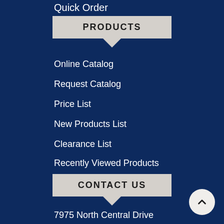Quick Order
PRODUCTS
Online Catalog
Request Catalog
Price List
New Products List
Clearance List
Recently Viewed Products
Resource Center
CONTACT US
7975 North Central Drive